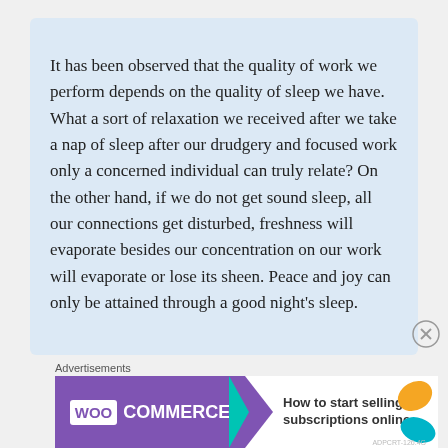It has been observed that the quality of work we perform depends on the quality of sleep we have. What a sort of relaxation we received after we take a nap of sleep after our drudgery and focused work only a concerned individual can truly relate? On the other hand, if we do not get sound sleep, all our connections get disturbed, freshness will evaporate besides our concentration on our work will evaporate or lose its sheen. Peace and joy can only be attained through a good night's sleep.
Advertisements
[Figure (other): WooCommerce advertisement banner with purple background on the left showing WooCommerce logo with a teal arrow, and white background on right with text 'How to start selling subscriptions online' and decorative orange and teal leaf shapes.]